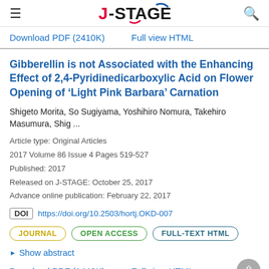J-STAGE
Download PDF (2410K)   Full view HTML
Gibberellin is not Associated with the Enhancing Effect of 2,4-Pyridinedicarboxylic Acid on Flower Opening of ‘Light Pink Barbara’ Carnation
Shigeto Morita, So Sugiyama, Yoshihiro Nomura, Takehiro Masumura, Shig ...
Article type: Original Articles
2017 Volume 86 Issue 4 Pages 519-527
Published: 2017
Released on J-STAGE: October 25, 2017
Advance online publication: February 22, 2017
DOI https://doi.org/10.2503/hortj.OKD-007
JOURNAL   OPEN ACCESS   FULL-TEXT HTML
▸ Show abstract
Download PDF (1442K)   Full view HTML